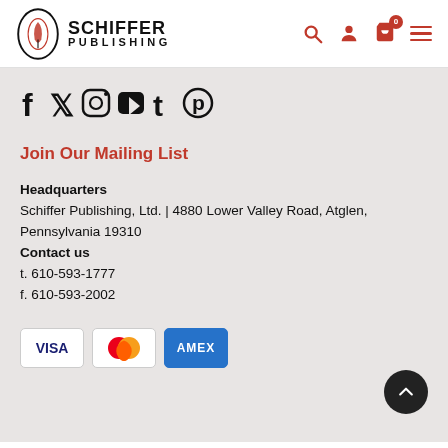Schiffer Publishing
[Figure (other): Social media icons row: Facebook, Twitter, Instagram, YouTube, Tumblr, Pinterest]
Join Our Mailing List
Headquarters
Schiffer Publishing, Ltd. | 4880 Lower Valley Road, Atglen, Pennsylvania 19310
Contact us
t. 610-593-1777
f. 610-593-2002
[Figure (other): Payment method logos: VISA, Mastercard, American Express]